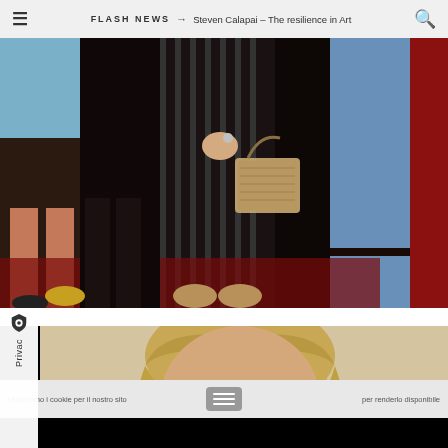FLASH NEWS → Steven Calapai – The resilience in Art
[Figure (photo): Partial view of people standing at what appears to be a fashion event or red carpet, showing their lower bodies/legs, various outfits including striped pants, a light blue garment, and a decorative handbag]
[Figure (photo): Partial view of a person with blonde/light brown hair, face partially visible at the bottom of the frame, with a beige/tan background]
Utilizziamo i cookie per il nostro sito...